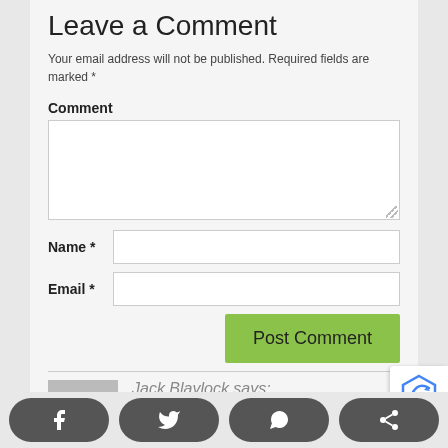Leave a Comment
Your email address will not be published. Required fields are marked *
Comment
Name *
Email *
Post Comment
Jack Blaylock says: